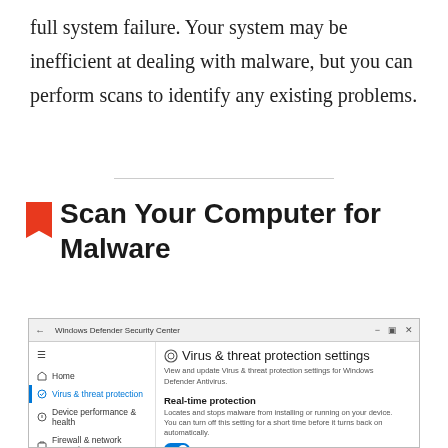full system failure. Your system may be inefficient at dealing with malware, but you can perform scans to identify any existing problems.
Scan Your Computer for Malware
[Figure (screenshot): Windows Defender Security Center showing Virus & threat protection settings panel with Real-time protection toggle set to On]